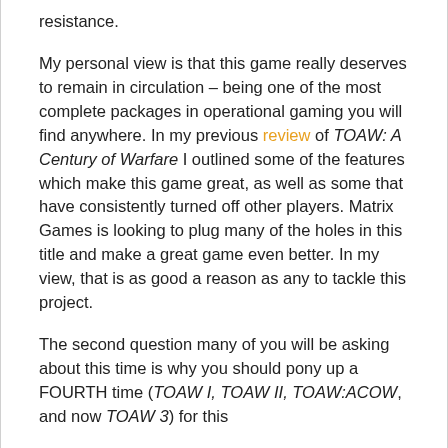resistance.
My personal view is that this game really deserves to remain in circulation – being one of the most complete packages in operational gaming you will find anywhere. In my previous review of TOAW: A Century of Warfare I outlined some of the features which make this game great, as well as some that have consistently turned off other players. Matrix Games is looking to plug many of the holes in this title and make a great game even better. In my view, that is as good a reason as any to tackle this project.
The second question many of you will be asking about this time is why you should pony up a FOURTH time (TOAW I, TOAW II, TOAW:ACOW, and now TOAW 3) for this